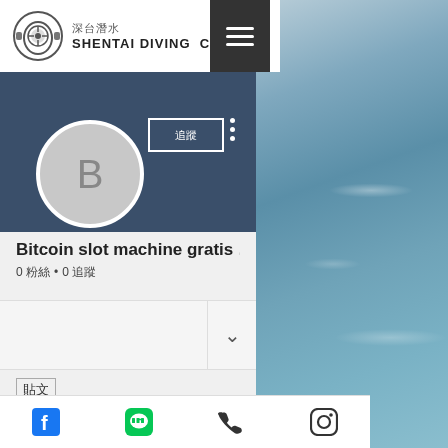深台 SHENTAI DIVING CENTER
[Figure (screenshot): Shentai Diving Center profile page on a social platform, showing profile avatar with letter B, follow button, name Bitcoin slot machine gratis ..., stats 0 followers 0 following, description dropdown, post label, and bottom navigation bar with Facebook, LINE, phone, and Instagram icons.]